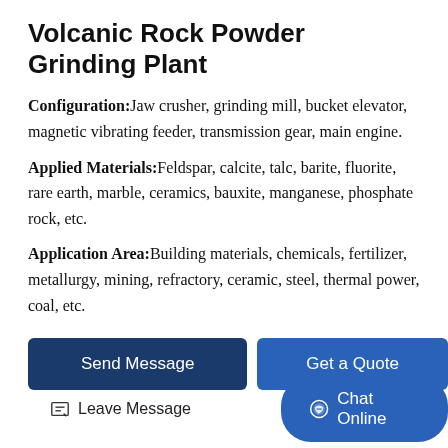Volcanic Rock Powder Grinding Plant
Configuration: Jaw crusher, grinding mill, bucket elevator, magnetic vibrating feeder, transmission gear, main engine.
Applied Materials: Feldspar, calcite, talc, barite, fluorite, rare earth, marble, ceramics, bauxite, manganese, phosphate rock, etc.
Application Area: Building materials, chemicals, fertilizer, metallurgy, mining, refractory, ceramic, steel, thermal power, coal, etc.
Send Message
Get a Quote
Leave Message
Chat Online